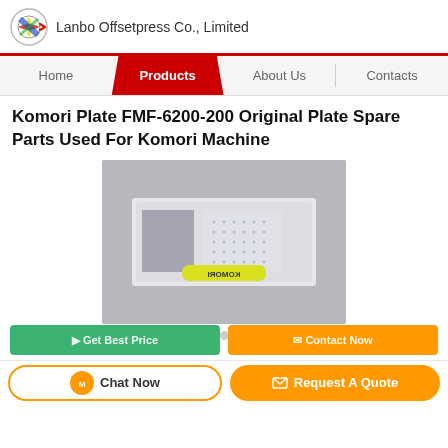Lanbo Offsetpress Co., Limited
[Figure (screenshot): Navigation bar with Home, Products (active/red), About Us, Contacts]
Komori Plate FMF-6200-200 Original Plate Spare Parts Used For Komori Machine
[Figure (photo): Product photo showing a Komori plate FMF-6200-200 spare part in a clear plastic bag with a yellow Komori-branded pen/marker, displayed on a gray background]
[Figure (other): Carousel dots: three dots with the first one highlighted in orange]
[Figure (other): Two action buttons partially visible (green and orange) and bottom bar with Chat Now and Request A Quote buttons]